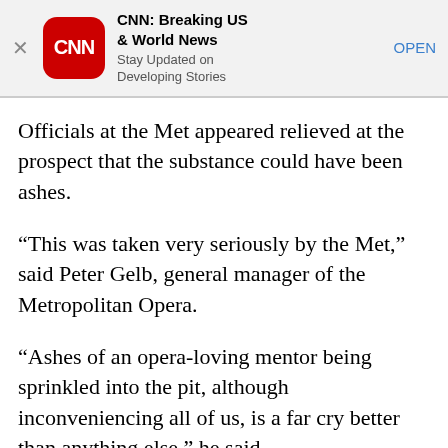[Figure (screenshot): CNN app advertisement banner with CNN logo, title 'CNN: Breaking US & World News', subtitle 'Stay Updated on Developing Stories', and an OPEN button]
Officials at the Met appeared relieved at the prospect that the substance could have been ashes.
“This was taken very seriously by the Met,” said Peter Gelb, general manager of the Metropolitan Opera.
“Ashes of an opera-loving mentor being sprinkled into the pit, although inconveniencing all of us, is a far cry better than anything else,” he said.
The Met is offering refunds to those forced to